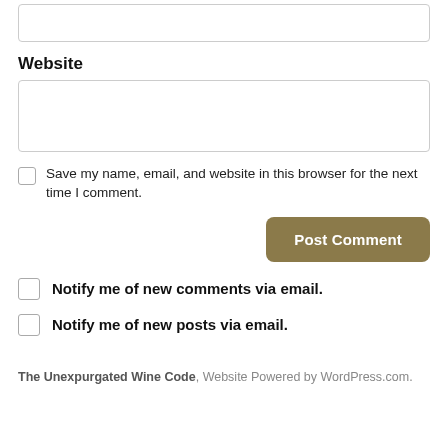Website
Save my name, email, and website in this browser for the next time I comment.
Post Comment
Notify me of new comments via email.
Notify me of new posts via email.
The Unexpurgated Wine Code, Website Powered by WordPress.com.